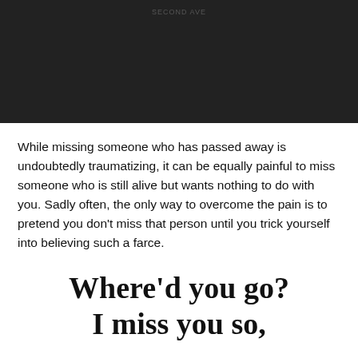[Figure (photo): Dark/black rectangular image area with a faint label text at the top center reading 'SECOND AVE']
While missing someone who has passed away is undoubtedly traumatizing, it can be equally painful to miss someone who is still alive but wants nothing to do with you. Sadly often, the only way to overcome the pain is to pretend you don't miss that person until you trick yourself into believing such a farce.
Where'd you go?
I miss you so,